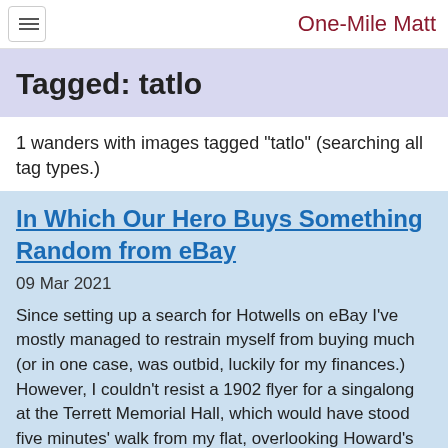One-Mile Matt
Tagged: tatlo
1 wanders with images tagged "tatlo" (searching all tag types.)
In Which Our Hero Buys Something Random from eBay
09 Mar 2021
Since setting up a search for Hotwells on eBay I've mostly managed to restrain myself from buying much (or in one case, was outbid, luckily for my finances.) However, I couldn't resist a 1902 flyer for a singalong at the Terrett Memorial Hall, which would have stood five minutes' walk from my flat, overlooking Howard's Lock.
I've found out a fair bit about this non-denominational seaman's mission, including tracking down both a Loxton